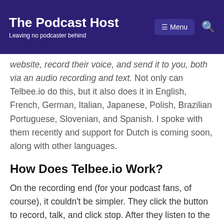The Podcast Host — Leaving no podcaster behind
website, record their voice, and send it to you, both via an audio recording and text. Not only can Telbee.io do this, but it also does it in English, French, German, Italian, Japanese, Polish, Brazilian Portuguese, Slovenian, and Spanish. I spoke with them recently and support for Dutch is coming soon, along with other languages.
How Does Telbee.io Work?
On the recording end (for your podcast fans, of course), it couldn't be simpler. They click the button to record, talk, and click stop. After they listen to the